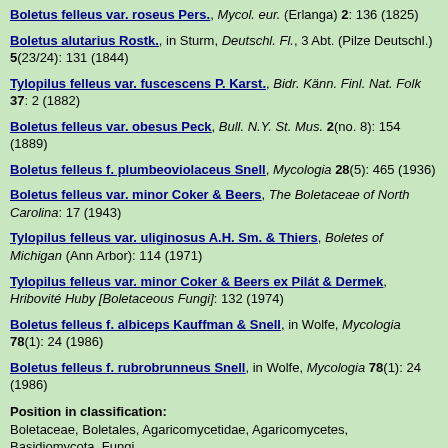Boletus felleus var. roseus Pers., Mycol. eur. (Erlanga) 2: 136 (1825)
Boletus alutarius Rostk., in Sturm, Deutschl. Fl., 3 Abt. (Pilze Deutschl.) 5(23/24): 131 (1844)
Tylopilus felleus var. fuscescens P. Karst., Bidr. Känn. Finl. Nat. Folk 37: 2 (1882)
Boletus felleus var. obesus Peck, Bull. N.Y. St. Mus. 2(no. 8): 154 (1889)
Boletus felleus f. plumbeoviolaceus Snell, Mycologia 28(5): 465 (1936)
Boletus felleus var. minor Coker & Beers, The Boletaceae of North Carolina: 17 (1943)
Tylopilus felleus var. uliginosus A.H. Sm. & Thiers, Boletes of Michigan (Ann Arbor): 114 (1971)
Tylopilus felleus var. minor Coker & Beers ex Pilát & Dermek, Hribovité Huby [Boletaceous Fungi]: 132 (1974)
Boletus felleus f. albiceps Kauffman & Snell, in Wolfe, Mycologia 78(1): 24 (1986)
Boletus felleus f. rubrobrunneus Snell, in Wolfe, Mycologia 78(1): 24 (1986)
Position in classification:
Boletaceae, Boletales, Agaricomycetidae, Agaricomycetes, Basidiomycota, Fungi
Synonymy Contributor(s):